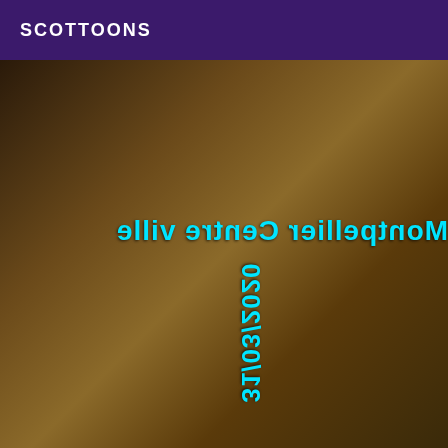SCOTTOONS
[Figure (photo): A person in black lace lingerie and thigh-high stockings posing in a room, reflected in a mirror. Cyan text overlaid reads 'Montpellier Centre Ville' (mirrored) and '31/03/2020' (rotated/mirrored).]